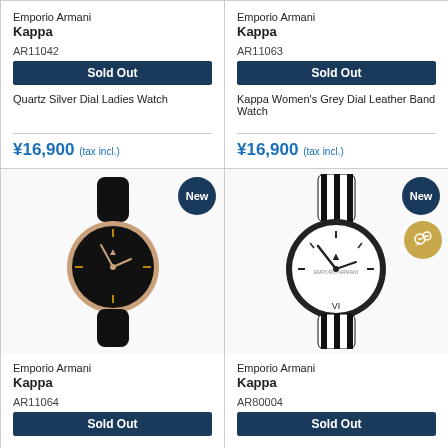Emporio Armani Kappa
AR11042
Sold Out
Quartz Silver Dial Ladies Watch
¥16,900 (tax incl.)
Emporio Armani Kappa
AR11063
Sold Out
Kappa Women's Grey Dial Leather Band Watch
¥16,900 (tax incl.)
[Figure (photo): Emporio Armani Kappa watch AR11064 with black dial and rose gold case, black leather strap, New badge]
Emporio Armani Kappa
AR11064
Sold Out
[Figure (photo): Emporio Armani Kappa watch AR80004 with white dial, black case, black and white striped fabric strap, New badge]
Emporio Armani Kappa
AR80004
Sold Out